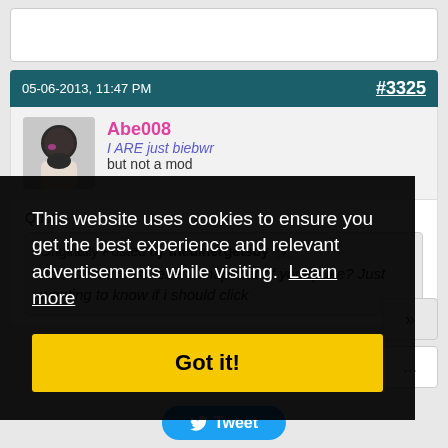[Figure (screenshot): Forum post screenshot with cookie consent overlay. Top white card stub visible. Post #3325 dated 05-06-2013, 11:47 PM by user Abe008. Quote from thedinergetsby asking about snapchat. Cookie consent banner overlaying bottom portion with 'Got it!' button. Tweet button at bottom.]
05-06-2013, 11:47 PM
#3325
Abe008
I ARE just biebwr
but not a mod
Quote:
Originally Posted by thedinergetsby
Abe is that most recent snapchat of your puke? Just wanting to know if i should click
This website uses cookies to ensure you get the best experience and relevant advertisements while visiting. Learn more
Got it!
Tweet